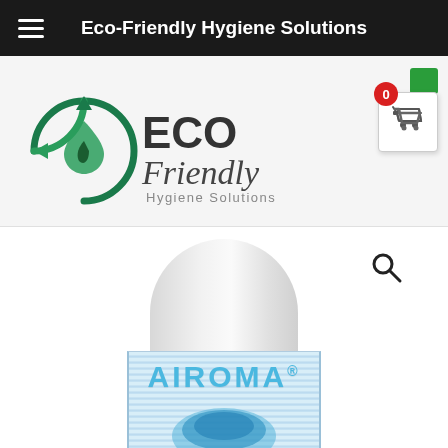Eco-Friendly Hygiene Solutions
[Figure (logo): Eco Friendly Hygiene Solutions logo with green circular arrow and leaf icon]
[Figure (photo): Airoma aerosol spray can product photo showing white can top and blue ribbed label with AIROMA text and blue wave graphic]